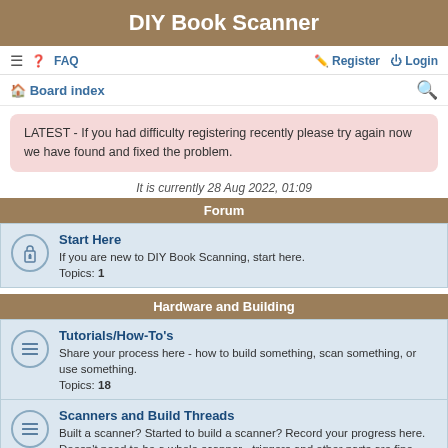DIY Book Scanner
≡  FAQ    Register  Login
Board index
LATEST - If you had difficulty registering recently please try again now we have found and fixed the problem.
It is currently 28 Aug 2022, 01:09
Forum
Start Here
If you are new to DIY Book Scanning, start here.
Topics: 1
Hardware and Building
Tutorials/How-To's
Share your process here - how to build something, scan something, or use something.
Topics: 18
Scanners and Build Threads
Built a scanner? Started to build a scanner? Record your progress here. Doesn't need to be a whole scanner - triggers and other parts are fine. Commercial scanners are fine too.